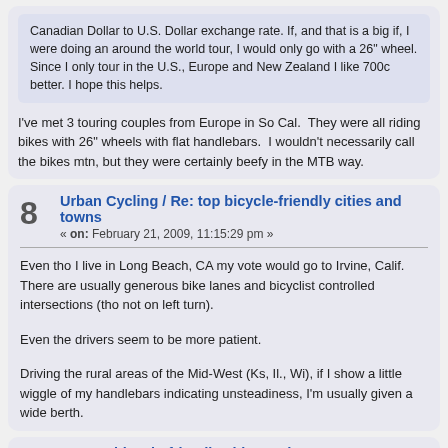Canadian Dollar to U.S. Dollar exchange rate. If, and that is a big if, I were doing an around the world tour, I would only go with a 26" wheel. Since I only tour in the U.S., Europe and New Zealand I like 700c better. I hope this helps.
I've met 3 touring couples from Europe in So Cal.  They were all riding bikes with 26" wheels with flat handlebars.  I wouldn't necessarily call the bikes mtn, but they were certainly beefy in the MTB way.
8
Urban Cycling / Re: top bicycle-friendly cities and towns
« on: February 21, 2009, 11:15:29 pm »
Even tho I live in Long Beach, CA my vote would go to Irvine, Calif. There are usually generous bike lanes and bicyclist controlled intersections (tho not on left turn).
Even the drivers seem to be more patient.
Driving the rural areas of the Mid-West (Ks, Il., Wi), if I show a little wiggle of my handlebars indicating unsteadiness, I'm usually given a wide berth.